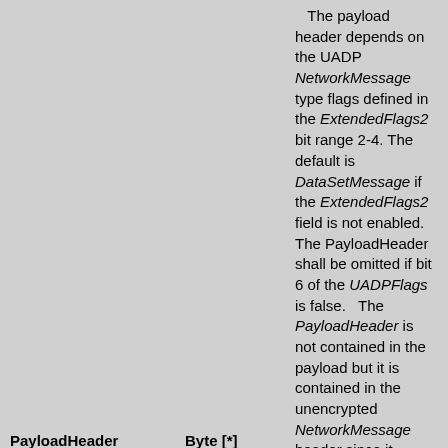| Name | Type | Description |
| --- | --- | --- |
| PayloadHeader | Byte [*] | The payload header depends on the UADP NetworkMessage type flags defined in the ExtendedFlags2 bit range 2-4. The default is DataSetMessage if the ExtendedFlags2 field is not enabled.   The PayloadHeader shall be omitted if bit 6 of the UADPFlags is false.   The PayloadHeader is not contained in the payload but it is contained in the unencrypted NetworkMessage header since it contains information necessary to filter DataSetMessages on the Subscriber side.If the payload header is not present for DataSetMessages, the Subscriber must know the number and size of DataSetMessages from the DataSetReader configuration. The group header is the default option to provide a reference to this information in the |